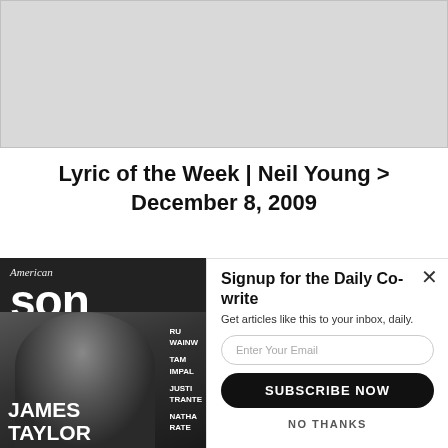[Figure (photo): Grey placeholder image at the top of the page]
Lyric of the Week | Neil Young > December 8, 2009
[Figure (photo): American Songwriter magazine cover featuring James Taylor]
Signup for the Daily Co-write
Get articles like this to your inbox, daily.
Enter Your Email
SUBSCRIBE NOW
NO THANKS